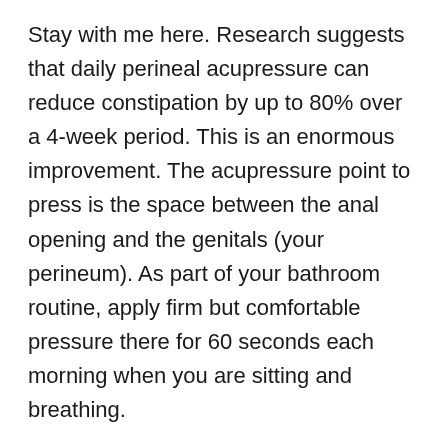Stay with me here. Research suggests that daily perineal acupressure can reduce constipation by up to 80% over a 4-week period. This is an enormous improvement. The acupressure point to press is the space between the anal opening and the genitals (your perineum). As part of your bathroom routine, apply firm but comfortable pressure there for 60 seconds each morning when you are sitting and breathing.
Go for a daily walk
Gentle movement, in the form of a leisurely